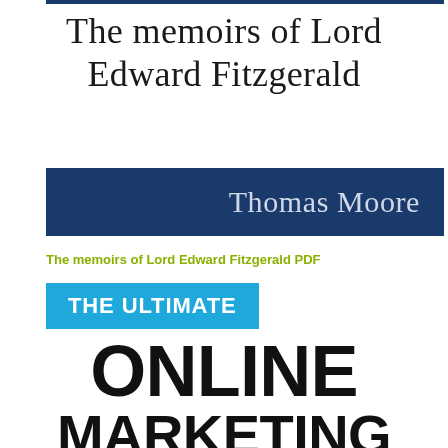[Figure (illustration): Top blue horizontal bar decorative element]
The memoirs of Lord Edward Fitzgerald
[Figure (illustration): Dark navy blue banner with author name 'Thomas Moore' in light blue-grey text, right-aligned]
The memoirs of Lord Edward Fitzgerald PDF
[Figure (illustration): Blue banner with 'THE ULTIMATE' in white bold uppercase text]
ONLINE MARKETING FORMULA